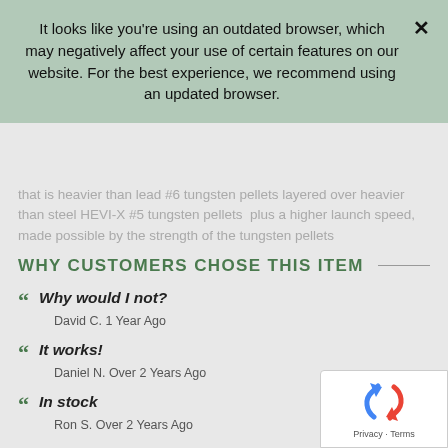It looks like you're using an outdated browser, which may negatively affect your use of certain features on our website. For the best experience, we recommend using an updated browser.
that is heavier than lead #6 tungsten pellets layered over heavier than steel HEVI-X #5 tungsten pellets  plus a higher launch speed, made possible by the strength of the tungsten pellets
WHY CUSTOMERS CHOSE THIS ITEM
Why would I not? — David C. 1 Year Ago
It works! — Daniel N. Over 2 Years Ago
In stock — Ron S. Over 2 Years Ago